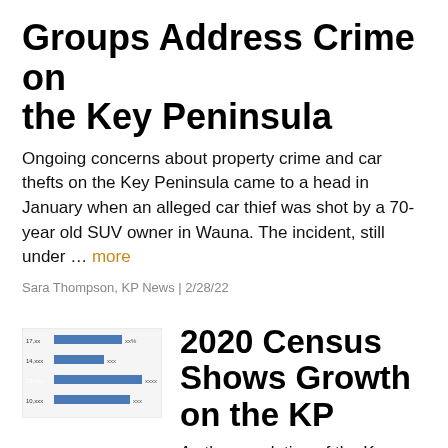Groups Address Crime on the Key Peninsula
Ongoing concerns about property crime and car thefts on the Key Peninsula came to a head in January when an alleged car thief was shot by a 70-year old SUV owner in Wauna. The incident, still under … more
Sara Thompson, KP News | 2/28/22
[Figure (bar-chart): Horizontal bar chart thumbnail showing population data with blue bars and labels, used as article thumbnail image]
2020 Census Shows Growth on the KP
As the population of the Key